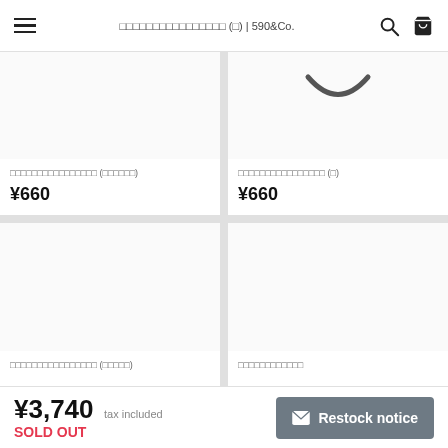□□□□□□□□□□□□□□□□ (□) | 590&Co.
[Figure (photo): Product image top-left, mostly white/blank]
□□□□□□□□□□□□□□□□ (□□□□□□)
¥660
[Figure (photo): Product image top-right, showing a smile/arc shape]
□□□□□□□□□□□□□□□□ (□)
¥660
[Figure (photo): Product image bottom-left, blank white]
□□□□□□□□□□□□□□□□ (□□□□□)
[Figure (photo): Product image bottom-right, blank white]
□□□□□□□□□□□□
¥3,740 tax included
SOLD OUT
✉ Restock notice